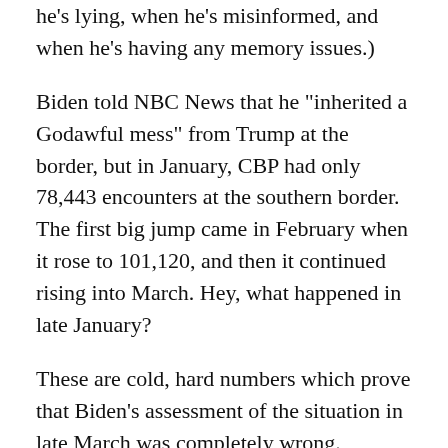he's lying, when he's misinformed, and when he's having any memory issues.)
Biden told NBC News that he "inherited a Godawful mess" from Trump at the border, but in January, CBP had only 78,443 encounters at the southern border. The first big jump came in February when it rose to 101,120, and then it continued rising into March. Hey, what happened in late January?
These are cold, hard numbers which prove that Biden's assessment of the situation in late March was completely wrong. Whether or not Biden wanted to tell Central America that the border is open, his first moves on immigration — halting construction of border fencing, new guidelines to ICE agents to sharply curb arrests and deportations, an attempted moratorium on deportations, proposing a path to citizenship — all sent a signal to migrants and human traffickers that the border...